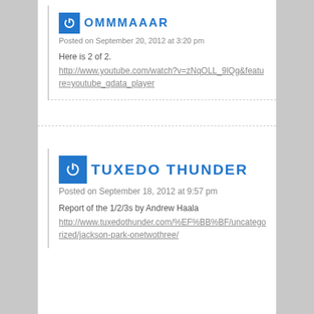OMMMAAAR
Posted on September 20, 2012 at 3:20 pm
Here is 2 of 2.
http://www.youtube.com/watch?v=zNqOLL_9lQg&feature=youtube_gdata_player
TUXEDO THUNDER
Posted on September 18, 2012 at 9:57 pm
Report of the 1/2/3s by Andrew Haala
http://www.tuxedothunder.com/%EF%BB%BF/uncategorized/jackson-park-onetwothree/